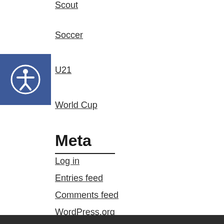Scout
Soccer
U21
World Cup
Meta
Log in
Entries feed
Comments feed
WordPress.org